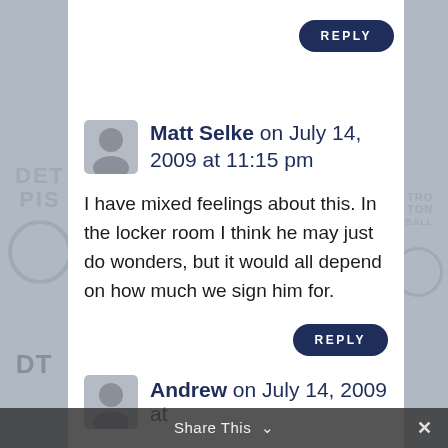[Figure (screenshot): REPLY button at top right, dark navy rounded rectangle with white letter-spaced text REPLY]
Matt Selke on July 14, 2009 at 11:15 pm
I have mixed feelings about this. In the locker room I think he may just do wonders, but it would all depend on how much we sign him for.
[Figure (screenshot): REPLY button at bottom right of comment, dark navy rounded rectangle with white letter-spaced text REPLY]
Andrew on July 14, 2009 at
Share This